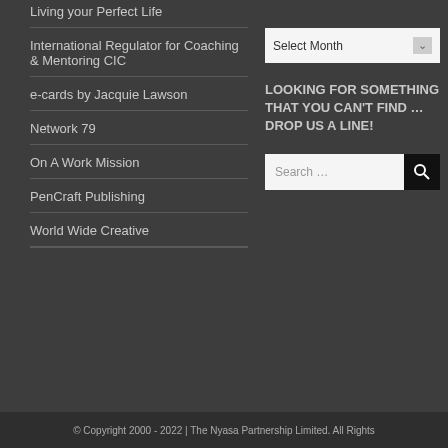Living your Perfect Life
International Regulator for Coaching & Mentoring CIC
e-cards by Jacquie Lawson
Network 79
On A Work Mission
PenCraft Publishing
World Wide Creative
[Figure (screenshot): Select Month dropdown widget]
LOOKING FOR SOMETHING THAT YOU CAN'T FIND ... DROP US A LINE!
[Figure (screenshot): Search input box with search button]
© Copyright 2000 - 2022 | The Nyasa Partnership Limited. All Rights